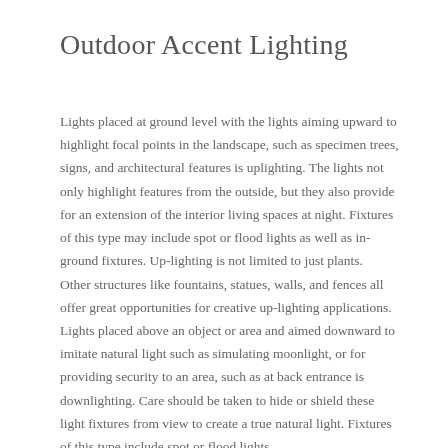Outdoor Accent Lighting
Lights placed at ground level with the lights aiming upward to highlight focal points in the landscape, such as specimen trees, signs, and architectural features is uplighting. The lights not only highlight features from the outside, but they also provide for an extension of the interior living spaces at night. Fixtures of this type may include spot or flood lights as well as in-ground fixtures. Up-lighting is not limited to just plants.  Other structures like fountains, statues, walls, and fences all offer great opportunities for creative up-lighting applications.
Lights placed above an object or area and aimed downward to imitate natural light such as simulating moonlight, or for providing security to an area, such as at back entrance is downlighting. Care should be taken to hide or shield these light fixtures from view to create a true natural light. Fixtures of this type include spot or flood lights.